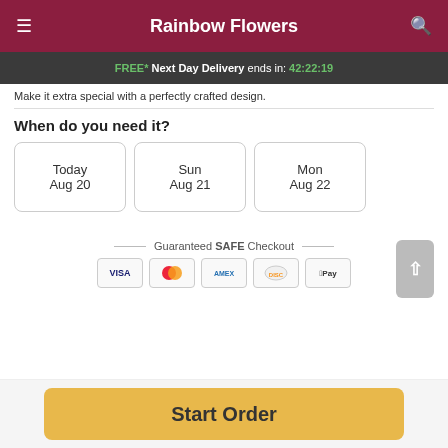Rainbow Flowers
FREE* Next Day Delivery ends in: 42:22:19
Make it extra special with a perfectly crafted design.
When do you need it?
Today
Aug 20
Sun
Aug 21
Mon
Aug 22
Guaranteed SAFE Checkout
Start Order